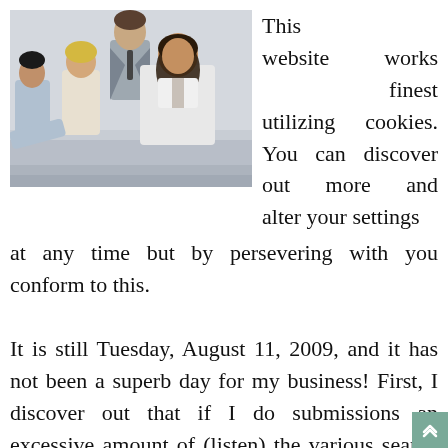[Figure (photo): Business professionals group photo — three women and one man in professional attire, seated/standing around a table]
This website works finest utilizing cookies. You can discover out more and alter your settings at any time but by persevering with you conform to this.
It is still Tuesday, August 11, 2009, and it has not been a superb day for my business! First, I discover out that if I do submissions an excessive amount of (listen) the various search engines think about it spam! I could not work